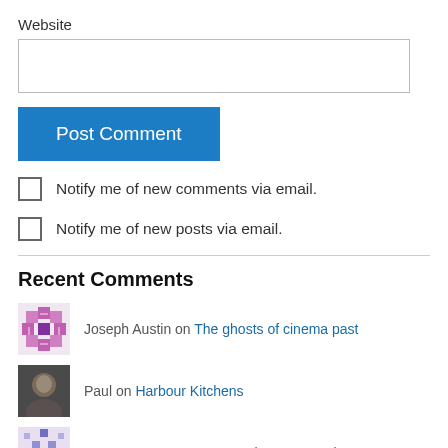Website
Post Comment
Notify me of new comments via email.
Notify me of new posts via email.
Recent Comments
Joseph Austin on The ghosts of cinema past
Paul on Harbour Kitchens
Roger Strong on 18 November 1947 – The B...